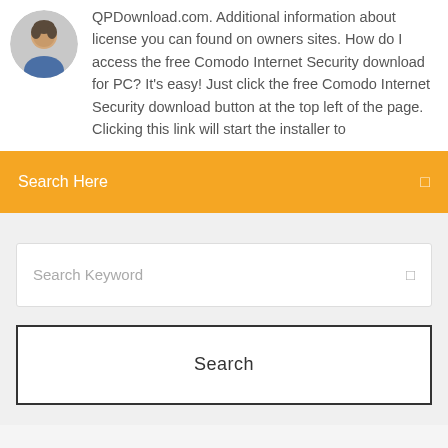[Figure (photo): Circular avatar photo of a man with short hair against a light background]
QPDownload.com. Additional information about license you can found on owners sites. How do I access the free Comodo Internet Security download for PC? It's easy! Just click the free Comodo Internet Security download button at the top left of the page. Clicking this link will start the installer to
Search Here
Search Keyword
Search